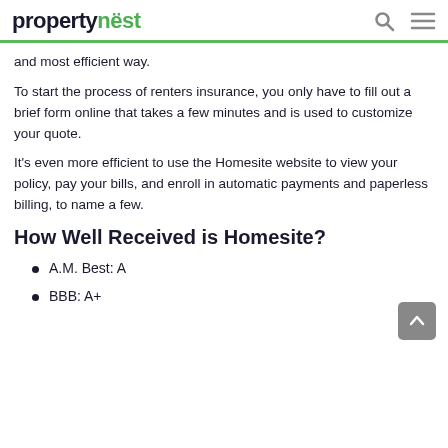propertynest
and most efficient way.
To start the process of renters insurance, you only have to fill out a brief form online that takes a few minutes and is used to customize your quote.
It's even more efficient to use the Homesite website to view your policy, pay your bills, and enroll in automatic payments and paperless billing, to name a few.
How Well Received is Homesite?
A.M. Best: A
BBB: A+